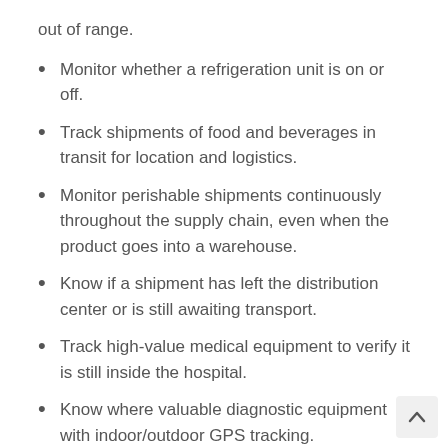out of range.
Monitor whether a refrigeration unit is on or off.
Track shipments of food and beverages in transit for location and logistics.
Monitor perishable shipments continuously throughout the supply chain, even when the product goes into a warehouse.
Know if a shipment has left the distribution center or is still awaiting transport.
Track high-value medical equipment to verify it is still inside the hospital.
Know where valuable diagnostic equipment with indoor/outdoor GPS tracking.